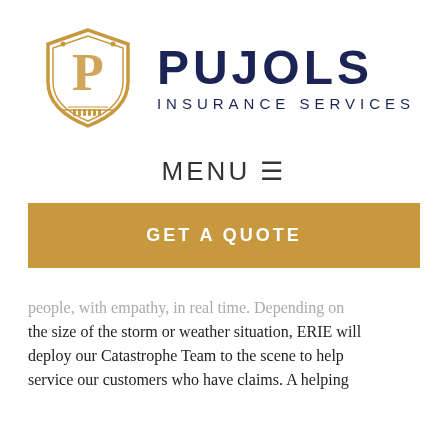[Figure (logo): Pujols Insurance Services logo with gold shield containing letter P and dark navy text reading PUJOLS INSURANCE SERVICES]
MENU ≡
GET A QUOTE
people, with empathy, in real time. Depending on the size of the storm or weather situation, ERIE will deploy our Catastrophe Team to the scene to help service our customers who have claims. A helping